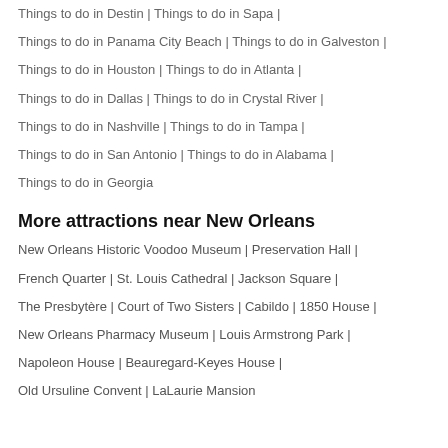Things to do in Destin | Things to do in Sapa |
Things to do in Panama City Beach | Things to do in Galveston |
Things to do in Houston | Things to do in Atlanta |
Things to do in Dallas | Things to do in Crystal River |
Things to do in Nashville | Things to do in Tampa |
Things to do in San Antonio | Things to do in Alabama |
Things to do in Georgia
More attractions near New Orleans
New Orleans Historic Voodoo Museum | Preservation Hall |
French Quarter | St. Louis Cathedral | Jackson Square |
The Presbytère | Court of Two Sisters | Cabildo | 1850 House |
New Orleans Pharmacy Museum | Louis Armstrong Park |
Napoleon House | Beauregard-Keyes House |
Old Ursuline Convent | LaLaurie Mansion